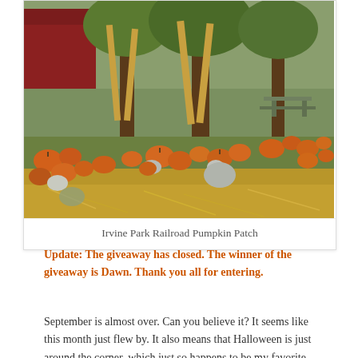[Figure (photo): Outdoor pumpkin patch at Irvine Park Railroad showing numerous orange and white pumpkins scattered on grass and dirt ground, with large trees wrapped in dried corn stalks, a red barn building in the background, and picnic tables visible on the right side.]
Irvine Park Railroad Pumpkin Patch
Update: The giveaway has closed. The winner of the giveaway is Dawn. Thank you all for entering.
September is almost over. Can you believe it? It seems like this month just flew by. It also means that Halloween is just around the corner, which just so happens to be my favorite holiday! We